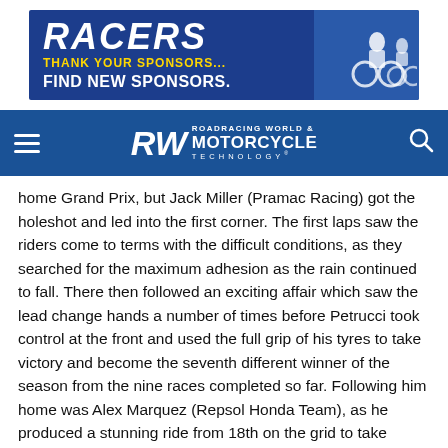[Figure (other): Advertisement banner for RACERS with blue background. Text reads 'RACERS THANK YOUR SPONSORS... FIND NEW SPONSORS.' with an image of motorcyclists on the right.]
RW ROADRACING WORLD & MOTORCYCLE TECHNOLOGY
home Grand Prix, but Jack Miller (Pramac Racing) got the holeshot and led into the first corner. The first laps saw the riders come to terms with the difficult conditions, as they searched for the maximum adhesion as the rain continued to fall. There then followed an exciting affair which saw the lead change hands a number of times before Petrucci took control at the front and used the full grip of his tyres to take victory and become the seventh different winner of the season from the nine races completed so far. Following him home was Alex Marquez (Repsol Honda Team), as he produced a stunning ride from 18th on the grid to take second place in his first race using MICHELIN Power Rain tyres. The podium was completed by Pol Espargaro (Red Bull KTM Factory Racing), to give a trio of manufactures in the top-three positions.  Andrea Dovizioso (Ducati Team) was next over the line in fourth, he also set a new Event Best Maximum Speed record as he used the drive of his MICHELIN Power Slick tyres in a dry Warm-Up to record a speed of 319.6Km/h. Home favourite Johann Zarco